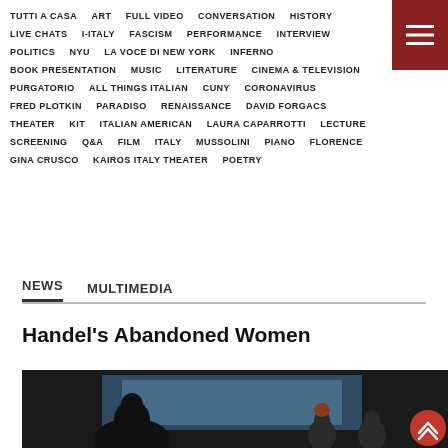TUTTI A CASA   ART   FULL VIDEO   CONVERSATION   HISTORY   LIVE CHATS   I-ITALY   FASCISM   PERFORMANCE   INTERVIEW   POLITICS   NYU   LA VOCE DI NEW YORK   INFERNO   BOOK PRESENTATION   MUSIC   LITERATURE   CINEMA & TELEVISION   PURGATORIO   ALL THINGS ITALIAN   CUNY   CORONAVIRUS   FRED PLOTKIN   PARADISO   RENAISSANCE   DAVID FORGACS   THEATER   KIT   ITALIAN AMERICAN   LAURA CAPARROTTI   LECTURE   SCREENING   Q&A   FILM   ITALY   MUSSOLINI   PIANO   FLORENCE   GINA CRUSCO   KAIROS ITALY THEATER   POETRY
NEWS
MULTIMEDIA
Handel's Abandoned Women
[Figure (photo): A group of people on a stage or panel, with a screen/projection behind them. Dark silhouette in the foreground.]